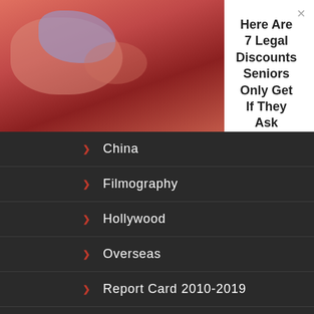[Figure (screenshot): Ad banner showing meat/butcher image on left with text on right]
Here Are 7 Legal Discounts Seniors Only Get If They Ask
Senior Discounts By National Penny | Sponsored
China
Filmography
Hollywood
Overseas
Report Card 2010-2019
Worldwide
CATEGORIES
Box Office